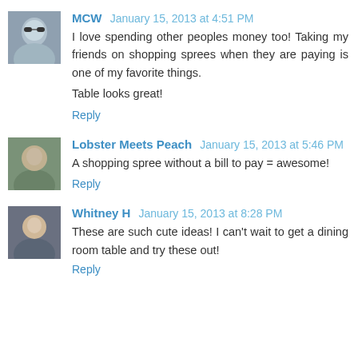MCW January 15, 2013 at 4:51 PM
I love spending other peoples money too! Taking my friends on shopping sprees when they are paying is one of my favorite things.

Table looks great!

Reply
Lobster Meets Peach January 15, 2013 at 5:46 PM
A shopping spree without a bill to pay = awesome!

Reply
Whitney H January 15, 2013 at 8:28 PM
These are such cute ideas! I can't wait to get a dining room table and try these out!

Reply